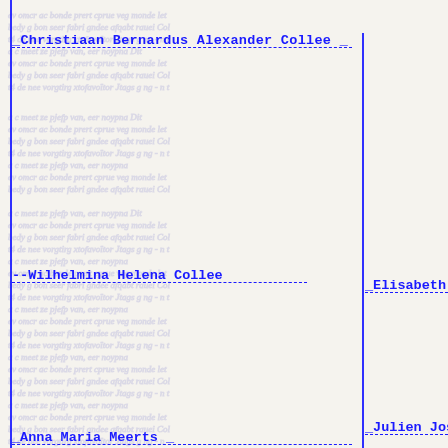_Christiaan Bernardus Alexander Collee _
_Elisabeth
--Wilhelmina Helena Collee
_Julien Jos
_Anna Maria Meerts _